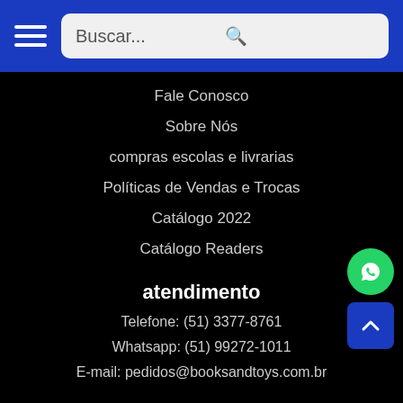Buscar...
Fale Conosco
Sobre Nós
compras escolas e livrarias
Políticas de Vendas e Trocas
Catálogo 2022
Catálogo Readers
atendimento
Telefone: (51) 3377-8761
Whatsapp: (51) 99272-1011
E-mail: pedidos@booksandtoys.com.br